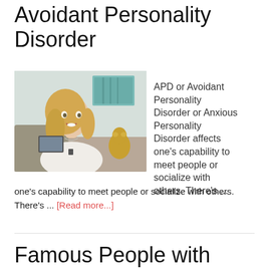Avoidant Personality Disorder
[Figure (photo): A smiling blonde woman in a white top sitting indoors, with a golden frog statue and teal artwork visible in the background.]
APD or Avoidant Personality Disorder or Anxious Personality Disorder affects one's capability to meet people or socialize with others. There's … [Read more...]